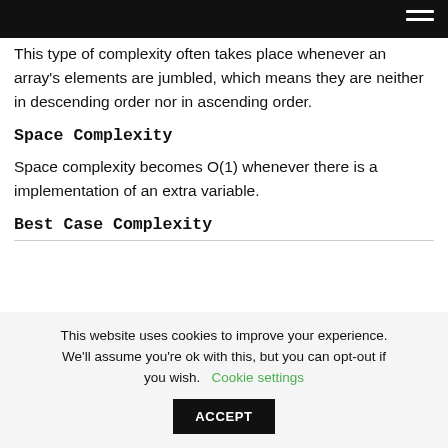This type of complexity often takes place whenever an array's elements are jumbled, which means they are neither in descending order nor in ascending order.
Space Complexity
Space complexity becomes O(1) whenever there is a implementation of an extra variable.
Best Case Complexity
This website uses cookies to improve your experience. We'll assume you're ok with this, but you can opt-out if you wish. Cookie settings ACCEPT